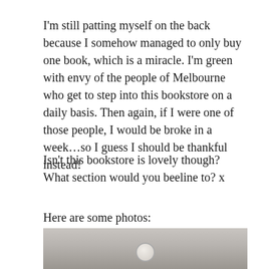I'm still patting myself on the back because I somehow managed to only buy one book, which is a miracle. I'm green with envy of the people of Melbourne who get to step into this bookstore on a daily basis. Then again, if I were one of those people, I would be broke in a week...so I guess I should be thankful instead!
Isn't this bookstore is lovely though? What section would you beeline to? x
Here are some photos:
[Figure (photo): Partial photo of a bookstore, showing a grey/brown surface with a circular element visible at the bottom center, cropped at the bottom of the page.]